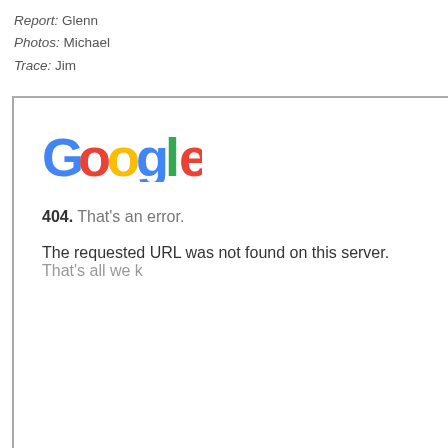Report: Glenn
Photos: Michael
Trace: Jim
[Figure (screenshot): Google 404 error page screenshot showing the Google logo and the message: '404. That's an error. The requested URL was not found on this server. That's all we k']